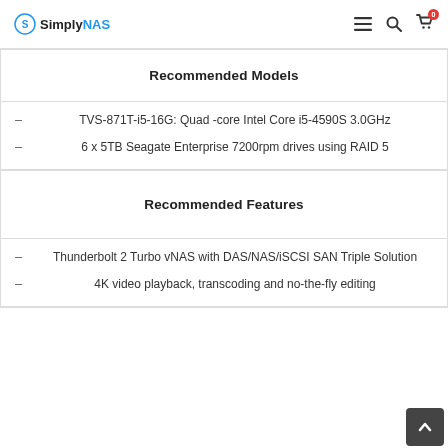SimplyNAS
Recommended Models
TVS-871T-i5-16G: Quad -core Intel Core i5-4590S 3.0GHz
6 x 5TB Seagate Enterprise 7200rpm drives using RAID 5
Recommended Features
Thunderbolt 2 Turbo vNAS with DAS/NAS/iSCSI SAN Triple Solution
4K video playback, transcoding and no-the-fly editing